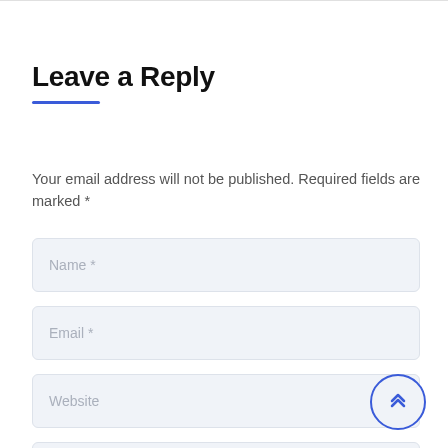Leave a Reply
Your email address will not be published. Required fields are marked *
[Figure (screenshot): Web form with input fields for Name *, Email *, Website, and Comment *]
[Figure (other): Scroll-to-top button: circular blue-outlined button with double upward chevron icon]